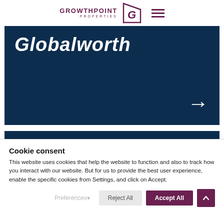GROWTHPOINT PROPERTIES
[Figure (screenshot): Dark navy blue banner with 'Globalworth' in large bold italic white text and a white right arrow button in the bottom right corner]
[Figure (screenshot): Dark navy blue banner with a small white dot/icon in the center bottom area]
Cookie consent
This website uses cookies that help the website to function and also to track how you interact with our website. But for us to provide the best user experience, enable the specific cookies from Settings, and click on Accept.
Preferences  Reject All  Accept All